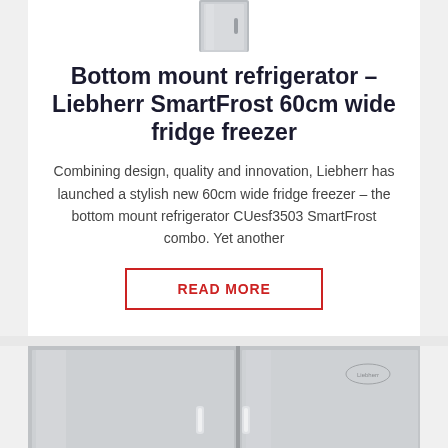[Figure (photo): Top portion of a stainless steel bottom mount refrigerator (Liebherr), cropped, showing the top edge of the appliance]
Bottom mount refrigerator – Liebherr SmartFrost 60cm wide fridge freezer
Combining design, quality and innovation, Liebherr has launched a stylish new 60cm wide fridge freezer – the bottom mount refrigerator CUesf3503 SmartFrost combo. Yet another
READ MORE
[Figure (photo): Stainless steel side-by-side or french door refrigerators shown side by side, partial view showing the front doors with handles and a small logo on the right unit]